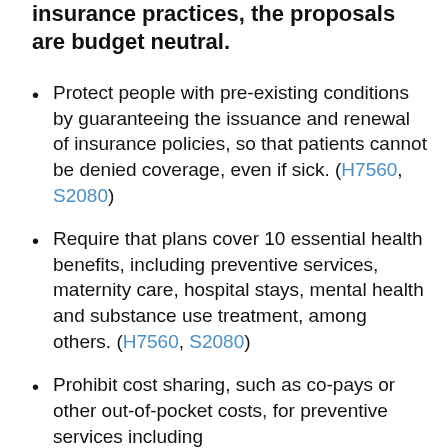insurance practices, the proposals are budget neutral.
Protect people with pre-existing conditions by guaranteeing the issuance and renewal of insurance policies, so that patients cannot be denied coverage, even if sick. (H7560, S2080)
Require that plans cover 10 essential health benefits, including preventive services, maternity care, hospital stays, mental health and substance use treatment, among others. (H7560, S2080)
Prohibit cost sharing, such as co-pays or other out-of-pocket costs, for preventive services including